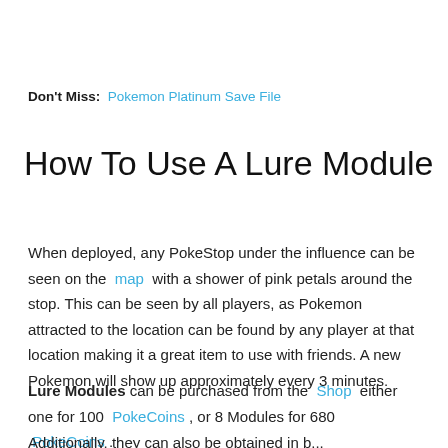Don't Miss:  Pokemon Platinum Save File
How To Use A Lure Module
When deployed, any PokeStop under the influence can be seen on the  map  with a shower of pink petals around the stop. This can be seen by all players, as Pokemon attracted to the location can be found by any player at that location making it a great item to use with friends. A new Pokemon will show up approximately every 3 minutes.
Lure Modules can be purchased from the  Shop  either one for 100  PokeCoins , or 8 Modules for 680  PokeCoins .
Additionally...